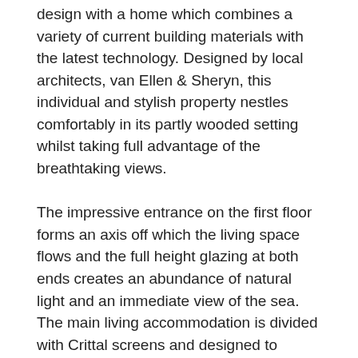design with a home which combines a variety of current building materials with the latest technology. Designed by local architects, van Ellen & Sheryn, this individual and stylish property nestles comfortably in its partly wooded setting whilst taking full advantage of the breathtaking views.
The impressive entrance on the first floor forms an axis off which the living space flows and the full height glazing at both ends creates an abundance of natural light and an immediate view of the sea. The main living accommodation is divided with Crittal screens and designed to seemlessly link the inside with the full width balcony which enjoys spectacular views across the gardens to the mouth of the estuary and beyond.